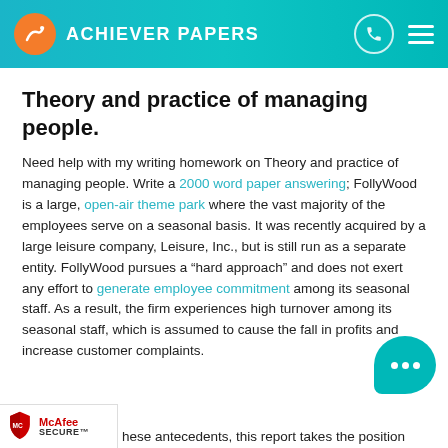ACHIEVER PAPERS
Theory and practice of managing people.
Need help with my writing homework on Theory and practice of managing people. Write a 2000 word paper answering; FollyWood is a large, open-air theme park where the vast majority of the employees serve on a seasonal basis. It was recently acquired by a large leisure company, Leisure, Inc., but is still run as a separate entity. FollyWood pursues a “hard approach” and does not exert any effort to generate employee commitment among its seasonal staff. As a result, the firm experiences high turnover among its seasonal staff, which is assumed to cause the fall in profits and increase customer complaints. ...hese antecedents, this report takes the position